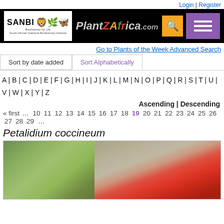Login | Register
[Figure (logo): SANBI and PlantZAfrica.com website header with search and menu buttons on black background]
Go to Plants of the Week Advanced Search
Sort by date added | Sort Alphabetically
A | B | C | D | E | F | G | H | I | J | K | L | M | N | O | P | Q | R | S | T | U | V | W | X | Y | Z
Ascending | Descending
« first … 10 11 12 13 14 15 16 17 18 19 20 21 22 23 24 25 26 27 28 29 …
Petalidium coccineum
[Figure (photo): Close-up photograph of Petalidium coccineum plant showing green foliage on left and red flowers on right]